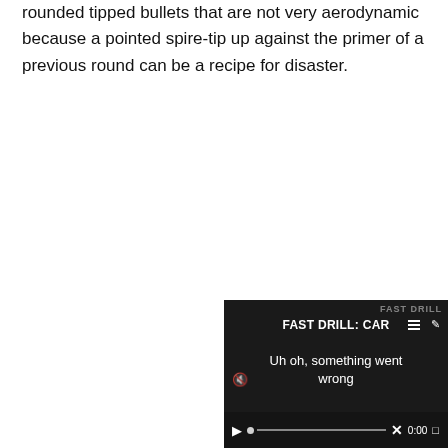rounded tipped bullets that are not very aerodynamic because a pointed spire-tip up against the primer of a previous round can be a recipe for disaster.
[Figure (screenshot): Embedded video player showing an error state. Title reads 'FAST DRILL: CAR' with a hamburger menu icon and pencil icon. Error message says 'Uh oh, something went wrong'. Controls show a play button, progress bar with dot, X mark, time '0:00', and fullscreen button. A close (X) button appears in a circle above the video player at top-right.]